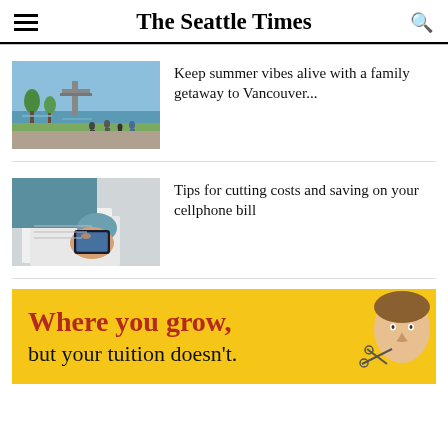The Seattle Times
[Figure (photo): Waterfront park scene with people walking along a riverside promenade, bridge visible in background]
Keep summer vibes alive with a family getaway to Vancouver...
[Figure (photo): Person in teal sweater holding a smartphone, looking at it from above]
Tips for cutting costs and saving on your cellphone bill
[Figure (illustration): Advertisement banner with yellow background: 'Where you grow, but your tuition doesn't.' with person's face on right]